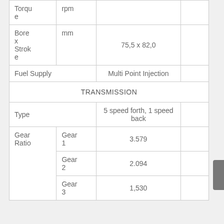| Parameter | Unit | Value |  |
| --- | --- | --- | --- |
| Torque | rpm |  |  |
| Bore x Stroke | mm | 75,5 x 82,0 |  |
| Fuel Supply |  | Multi Point Injection |  |
| TRANSMISSION |  |  |  |
| Type |  | 5 speed forth, 1 speed back |  |
| Gear Ratio | Gear 1 | 3.579 |  |
|  | Gear 2 | 2.094 |  |
|  | Gear 3 | 1,530 |  |